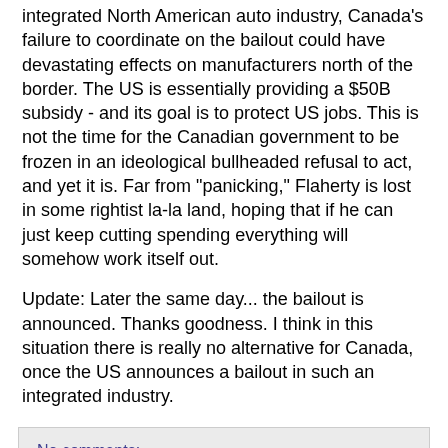integrated North American auto industry, Canada's failure to coordinate on the bailout could have devastating effects on manufacturers north of the border. The US is essentially providing a $50B subsidy - and its goal is to protect US jobs. This is not the time for the Canadian government to be frozen in an ideological bullheaded refusal to act, and yet it is. Far from "panicking," Flaherty is lost in some rightist la-la land, hoping that if he can just keep cutting spending everything will somehow work itself out.
Update: Later the same day... the bailout is announced. Thanks goodness. I think in this situation there is really no alternative for Canada, once the US announces a bailout in such an integrated industry.
No comments:
Share
Thursday, December 11, 2008
Look Out Stephen Harper...